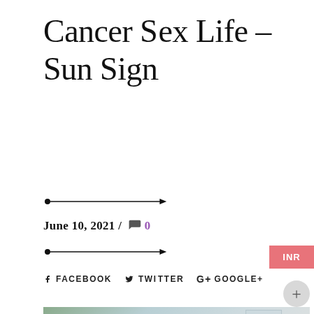Cancer Sex Life – Sun Sign
June 10, 2021 / 💬 0
f FACEBOOK  🐦 TWITTER  G+ GOOGLE+
[Figure (photo): A couple sitting together, man in light blue shirt and woman looking at each other, indoor setting with window in background. WhatsApp chat widget overlay with 'Need Help? Chat with us' message.]